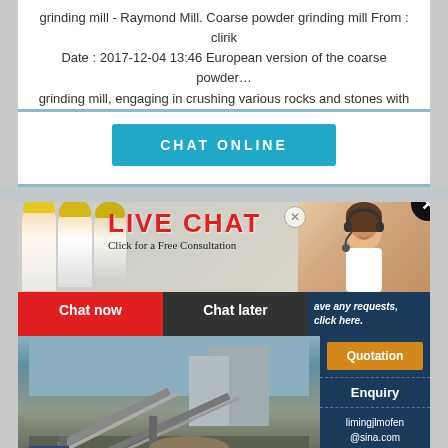grinding mill - Raymond Mill. Coarse powder grinding mill From : clirik Date : 2017-12-04 13:46 European version of the coarse powder… grinding mill, engaging in crushing various rocks and stones with
[Figure (screenshot): Teal CHAT ONLINE button]
[Figure (screenshot): Live chat popup overlay with workers in yellow hard hats, LIVE CHAT heading in red, 'Click for a Free Consultation' subtitle, Chat now (red) and Chat later (dark) buttons. Side panel shows: 'ave any requests, click here.', Quotation (orange button), Enquiry, limingjlmofen@sina.com. Close X circle button top right. Headset woman photo on right side. Construction equipment photo below.]
Transferred 2 Sets of Grinding